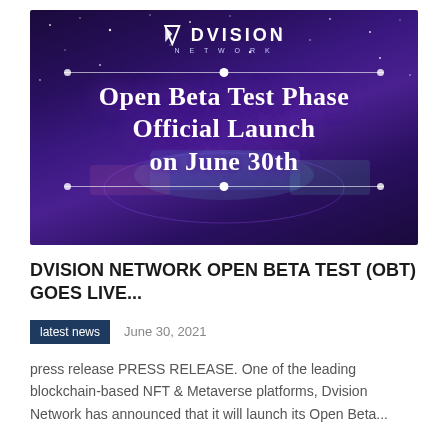[Figure (illustration): Hero banner image with purple/dark galaxy background showing a futuristic floating city/platform, with the Dvision Network logo at top and text 'Open Beta Test Phase Official Launch on June 30th' overlaid with decorative horizontal lines and dots.]
DVISION NETWORK OPEN BETA TEST (OBT) GOES LIVE...
latest news   June 30, 2021
press release PRESS RELEASE. One of the leading blockchain-based NFT & Metaverse platforms, Dvision Network has announced that it will launch its Open Beta...